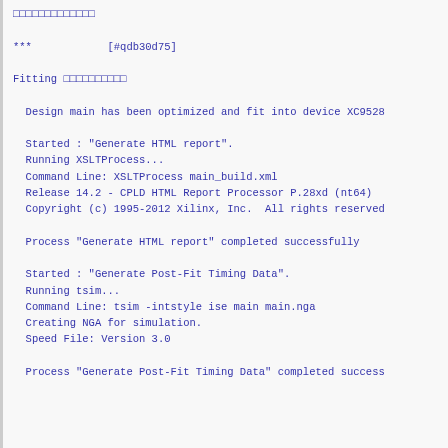□□□□□□□□□□□□□
***            [#qdb30d75]
Fitting □□□□□□□□□□
Design main has been optimized and fit into device XC9528
Started : "Generate HTML report".
Running XSLTProcess...
Command Line: XSLTProcess main_build.xml
Release 14.2 - CPLD HTML Report Processor P.28xd (nt64)
Copyright (c) 1995-2012 Xilinx, Inc.  All rights reserved
Process "Generate HTML report" completed successfully
Started : "Generate Post-Fit Timing Data".
Running tsim...
Command Line: tsim -intstyle ise main main.nga
Creating NGA for simulation.
Speed File: Version 3.0
Process "Generate Post-Fit Timing Data" completed success